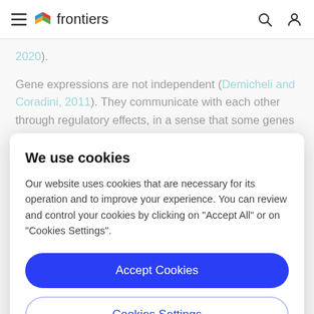frontiers
2020).
Gene expressions are not independent (Demicheli and Coradini, 2011). They communicate with each other through regulatory effects, in a sense that some genes
We use cookies
Our website uses cookies that are necessary for its operation and to improve your experience. You can review and control your cookies by clicking on "Accept All" or on "Cookies Settings".
Accept Cookies
Cookies Settings